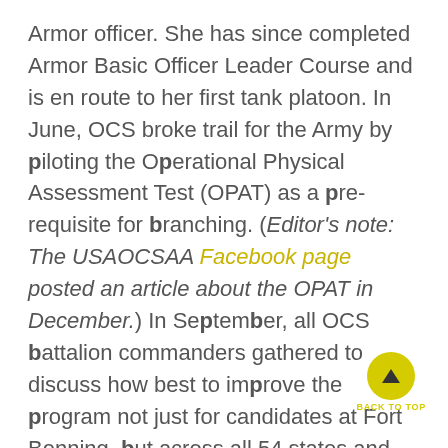Armor officer. She has since completed Armor Basic Officer Leader Course and is en route to her first tank platoon. In June, OCS broke trail for the Army by piloting the Operational Physical Assessment Test (OPAT) as a prerequisite for branching. (Editor's note: The USAOCSAA Facebook page posted an article about the OPAT in December.) In September, all OCS battalion commanders gathered to discuss how best to improve the program not just for candidates at Fort Benning, but across all 54 states and territories for the Total Army. In October, OCS, along with USMA and ROTC looked to